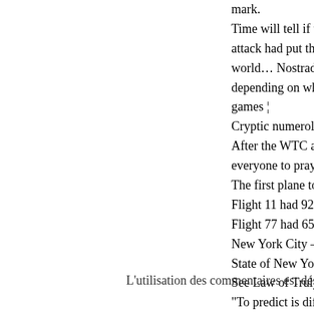mark.
Time will tell if the Kosovo co
attack had put the spark to a
world… Nostradamus predict
depending on which Nostrada
games ¦
Cryptic numerology:
After the WTC attack on 11 S
everyone to pray for 11 seco
The first plane to hit the towe
Flight 11 had 92 on board: 9
Flight 77 had 65 on board: 6
New York City – 11 Letters;
State of New York – 11th Sta
See Law of Truly Large Numb
"To predict is difficult; especia
End of the World predictions
Lost nuclear bombs. Motorbik
Rédigé par : Nenoeterb | 19 octobre
L'utilisation des commentaires est désac